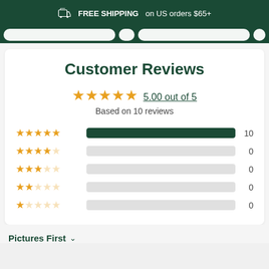FREE SHIPPING on US orders $65+
Customer Reviews
5.00 out of 5
Based on 10 reviews
[Figure (bar-chart): Customer Reviews Rating Breakdown]
Pictures First